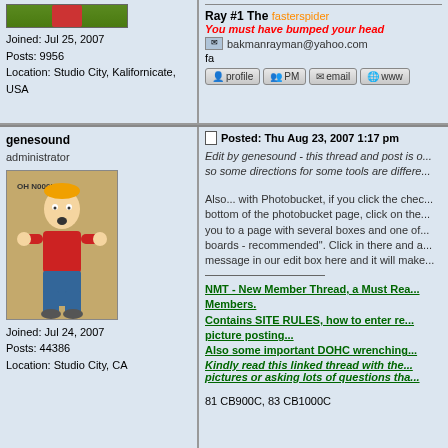[Figure (photo): Profile avatar image - partial green/red cartoon figure at top]
Joined: Jul 25, 2007
Posts: 9956
Location: Studio City, Kalifornicate, USA
Ray #1 The fasterspider
You must have bumped your head
bakmanrayman@yahoo.com
fa
genesound
administrator
[Figure (illustration): Cartoon illustration of a figure with text 'OH N000!!!' on brownish background]
Joined: Jul 24, 2007
Posts: 44386
Location: Studio City, CA
Posted: Thu Aug 23, 2007 1:17 pm
Edit by genesound - this thread and post is o... so some directions for some tools are differe...
Also... with Photobucket, if you click the chec... bottom of the photobucket page, click on the... you to a page with several boxes and one of... boards - recommended". Click in there and a... message in our edit box here and it will make...
NMT - New Member Thread, a Must Rea... Members.
Contains SITE RULES, how to enter re... picture posting...
Also some important DOHC wrenching...
Kindly read this linked thread with the... pictures or asking lots of questions tha...
81 CB900C, 83 CB1000C